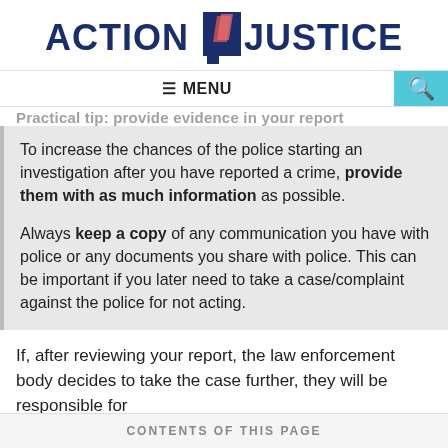[Figure (logo): Action 4 Justice logo with stylized red/blue '4' graphic between 'ACTION' and 'JUSTICE' in dark navy bold text]
≡ MENU
Practical tip: provide evidence in your report
To increase the chances of the police starting an investigation after you have reported a crime, provide them with as much information as possible.
Always keep a copy of any communication you have with police or any documents you share with police. This can be important if you later need to take a case/complaint against the police for not acting.
If, after reviewing your report, the law enforcement body decides to take the case further, they will be responsible for
CONTENTS OF THIS PAGE